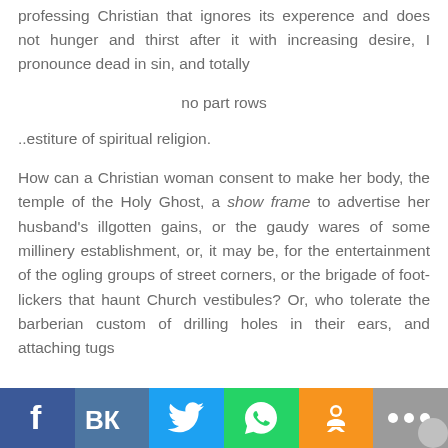professing Christian that ignores its experience and does not hunger and thirst after it with increasing desire, I pronounce dead in sin, and totally
no part rows
..estiture of spiritual religion.
How can a Christian woman consent to make her body, the temple of the Holy Ghost, a show frame to advertise her husband's illgotten gains, or the gaudy wares of some millinery establishment, or, it may be, for the entertainment of the ogling groups of street corners, or the brigade of foot-lickers that haunt Church vestibules? Or, who tolerate the barberian custom of drilling holes in their ears, and attaching tugs
[Figure (other): Social media sharing bar with Facebook, VK, Twitter, WhatsApp, Odnoklassniki, and more buttons]